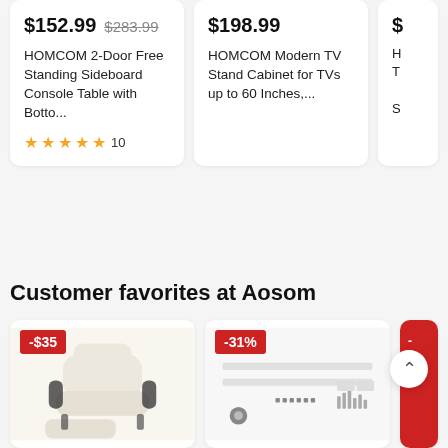$152.99  $283.99
HOMCOM 2-Door Free Standing Sideboard Console Table with Botto...
★★★★★ 10
$198.99
HOMCOM Modern TV Stand Cabinet for TVs up to 60 Inches,...
Customer favorites at Aosom
[Figure (photo): White recliner lounge chair with ottoman, cream/white leather, discount badge -$35]
[Figure (photo): Desk or shelf product image with discount badge -31%]